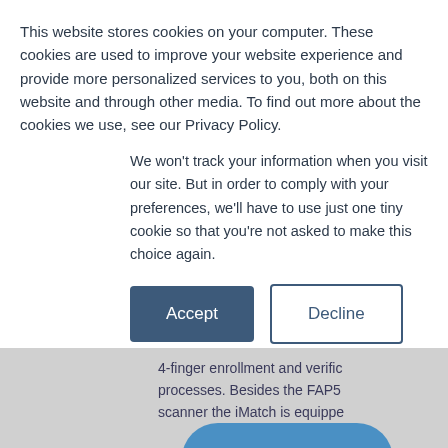This website stores cookies on your computer. These cookies are used to improve your website experience and provide more personalized services to you, both on this website and through other media. To find out more about the cookies we use, see our Privacy Policy.
We won't track your information when you visit our site. But in order to comply with your preferences, we'll have to use just one tiny cookie so that you're not asked to make this choice again.
Accept | Decline (buttons)
4-finger enrollment and verific... processes. Besides the FAP5... scanner the iMatch is equippe... ...t to ... ...he ... identification device for ID-do... seamlessly fits the EES requi... the needs for other enrollment...
Contact us